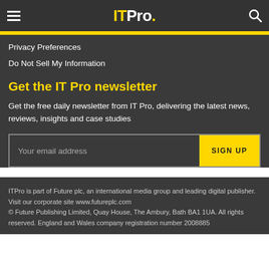ITPro.
Privacy Preferences
Do Not Sell My Information
Get the IT Pro newsletter
Get the free daily newsletter from IT Pro, delivering the latest news, reviews, insights and case studies
Your email address  SIGN UP
ITPro is part of Future plc, an international media group and leading digital publisher. Visit our corporate site www.futureplc.com
© Future Publishing Limited, Quay House, The Ambury, Bath BA1 1UA. All rights reserved. England and Wales company registration number 2008885